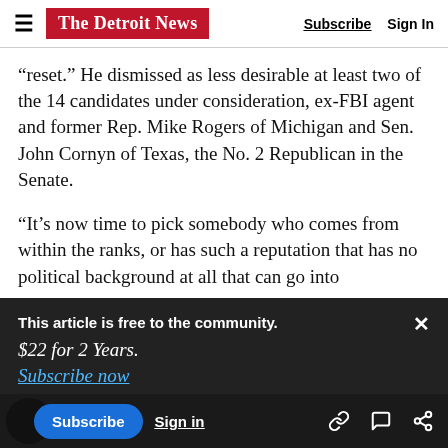The Detroit News | Subscribe | Sign In
“reset.” He dismissed as less desirable at least two of the 14 candidates under consideration, ex-FBI agent and former Rep. Mike Rogers of Michigan and Sen. John Cornyn of Texas, the No. 2 Republican in the Senate.
“It’s now time to pick somebody who comes from within the ranks, or has such a reputation that has no political background at all that can go into
This article is free to the community.
$22 for 2 Years.
Subscribe now
evidence yet.”